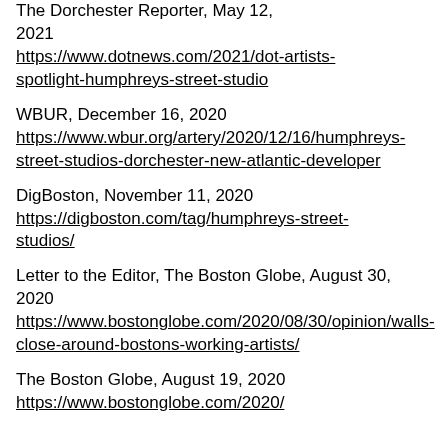The Dorchester Reporter, May 12, 2021 https://www.dotnews.com/2021/dot-artists-spotlight-humphreys-street-studio
WBUR, December 16, 2020 https://www.wbur.org/artery/2020/12/16/humphreys-street-studios-dorchester-new-atlantic-developer
DigBoston, November 11, 2020 https://digboston.com/tag/humphreys-street-studios/
Letter to the Editor, The Boston Globe, August 30, 2020 https://www.bostonglobe.com/2020/08/30/opinion/walls-close-around-bostons-working-artists/
The Boston Globe, August 19, 2020 https://www.bostonglobe.com/2020/